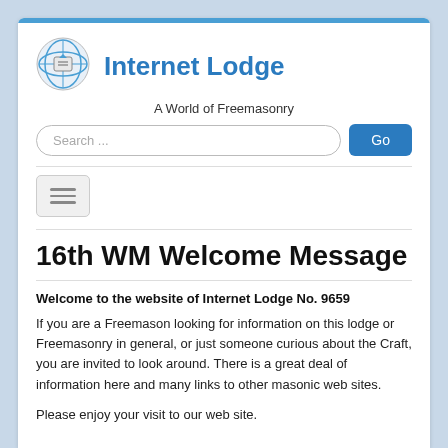[Figure (logo): Internet Lodge globe/masonic logo icon]
Internet Lodge
A World of Freemasonry
[Figure (other): Search bar with Go button]
[Figure (other): Hamburger menu button]
16th WM Welcome Message
Welcome to the website of Internet Lodge No. 9659
If you are a Freemason looking for information on this lodge or Freemasonry in general, or just someone curious about the Craft, you are invited to look around. There is a great deal of information here and many links to other masonic web sites.
Please enjoy your visit to our web site.